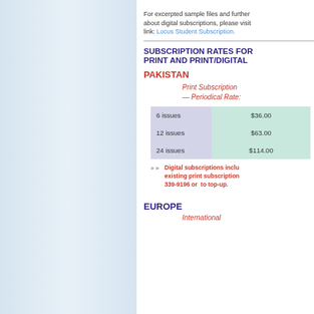For excerpted sample files and further about digital subscriptions, please visit link: Locus Student Subscription.
SUBSCRIPTION RATES FOR PRINT AND PRINT/DIGITAL
PAKISTAN
Print Subscription — Periodical Rate:
|  | Price |
| --- | --- |
| 6 issues | $36.00 |
| 12 issues | $63.00 |
| 24 issues | $114.00 |
» »   Digital subscriptions incl. existing print subscriptions. 339-9196 or to top-up.
EUROPE
International